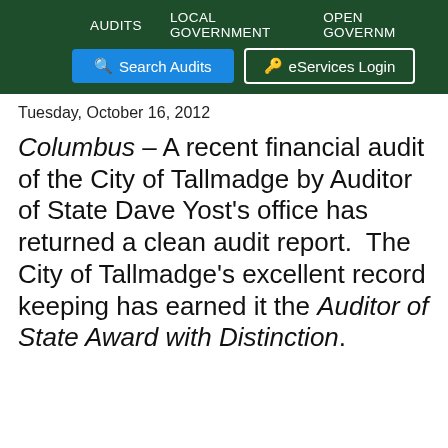AUDITS   LOCAL GOVERNMENT   OPEN GOVERNMENT
[Figure (screenshot): Navigation buttons: blue 'Search Audits' button and white-outlined 'eServices Login' button on dark green background]
Tuesday, October 16, 2012
Columbus – A recent financial audit of the City of Tallmadge by Auditor of State Dave Yost's office has returned a clean audit report.  The City of Tallmadge's excellent record keeping has earned it the Auditor of State Award with Distinction.